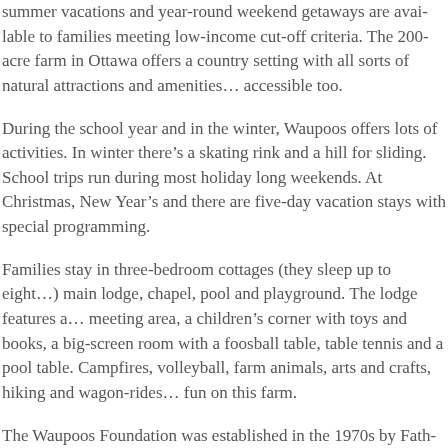summer vacations and year-round weekend getaways are available to families meeting low-income cut-off criteria. The 200-acre farm in Ottawa offers a country setting with all sorts of natural attractions and amenities. It's wheelchair accessible too.
During the school year and in the winter, Waupoos offers lots of fun activities. In winter there's a skating rink and a hill for sliding. School trips run during most holiday long weekends. At Christmas, New Year's and March, there are five-day vacation stays with special programming.
Families stay in three-bedroom cottages (they sleep up to eight) and use the main lodge, chapel, pool and playground. The lodge features a comfortable meeting area, a children's corner with toys and books, a big-screen TV, and a room with a foosball table, table tennis and a pool table. Campfires, volleyball, farm animals, arts and crafts, hiking and wagon-rides are all part of the fun on this farm.
The Waupoos Foundation was established in the 1970s by Father Leo and his friends when they took over the Oblate family farm near Picton Ontario. Programs were later expanded to include the local farm.